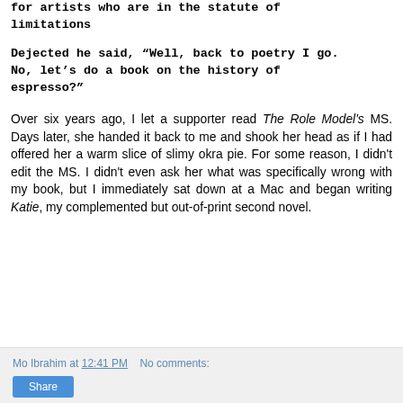for artists who are in the statute of limitations
Dejected he said, “Well, back to poetry I go. No, let’s do a book on the history of espresso?”
Over six years ago, I let a supporter read The Role Model’s MS. Days later, she handed it back to me and shook her head as if I had offered her a warm slice of slimy okra pie. For some reason, I didn’t edit the MS. I didn’t even ask her what was specifically wrong with my book, but I immediately sat down at a Mac and began writing Katie, my complemented but out-of-print second novel.
Mo Ibrahim at 12:41 PM   No comments:   Share